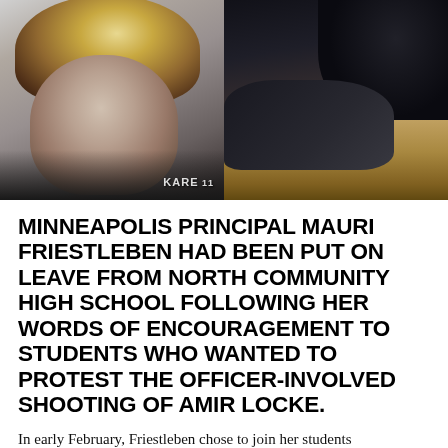[Figure (photo): Two side-by-side photos: left is a black-and-white portrait of a middle-aged woman with curly blonde hair wearing a dark shirt, with a KARE watermark; right is a dark photo showing what appears to be a police officer kneeling on someone on the ground, with a flashlight beam visible.]
MINNEAPOLIS PRINCIPAL MAURI FRIESTLEBEN HAD BEEN PUT ON LEAVE FROM NORTH COMMUNITY HIGH SCHOOL FOLLOWING HER WORDS OF ENCOURAGEMENT TO STUDENTS WHO WANTED TO PROTEST THE OFFICER-INVOLVED SHOOTING OF AMIR LOCKE.
In early February, Friestleben chose to join her students